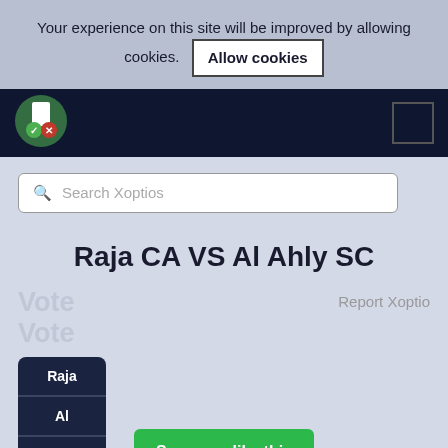Your experience on this site will be improved by allowing cookies.
Allow cookies
[Figure (logo): Xoptios logo — green and white icon with checkmark and X on dark background]
Raja CA VS Al Ahly SC
Vote
Vote
Report Xoptio
Raja
Al
Ahly
See more like this